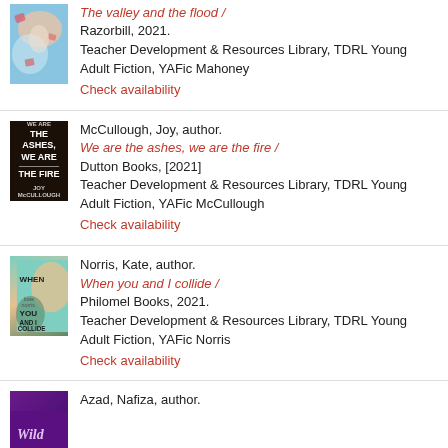The valley and the flood / Razorbill, 2021. Teacher Development & Resources Library, TDRL Young Adult Fiction, YAFic Mahoney. Check availability
McCullough, Joy, author. We are the ashes, we are the fire / Dutton Books, [2021] Teacher Development & Resources Library, TDRL Young Adult Fiction, YAFic McCullough. Check availability
Norris, Kate, author. When you and I collide / Philomel Books, 2021. Teacher Development & Resources Library, TDRL Young Adult Fiction, YAFic Norris. Check availability
Azad, Nafiza, author.